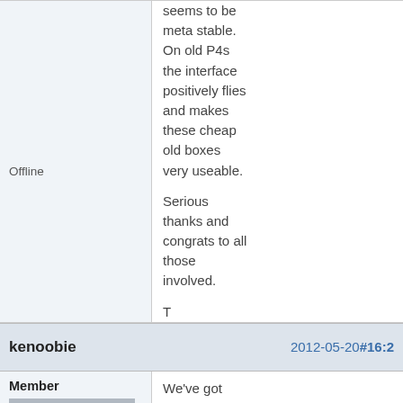seems to be meta stable. On old P4s the interface positively flies and makes these cheap old boxes very useable.

Serious thanks and congrats to all those involved.

T
Offline
kenoobie
2012-05-20 #16:2
Member
[Figure (illustration): Default forum avatar showing a silhouette of a person on grey background]
Registered: 2009-03-23
Posts: 8
We've got xfce4-4.10 packaged and in the testing repository of Vectorlinux. For us at